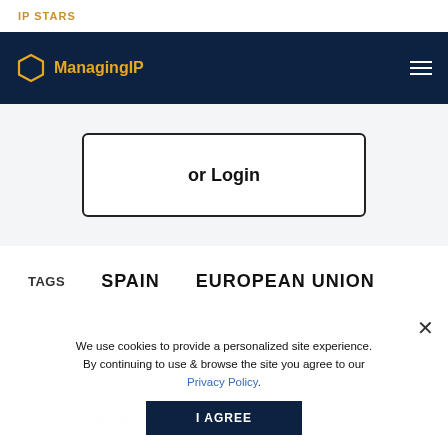IP STARS
[Figure (logo): Managing IP logo with hexagon icon on dark navy navigation bar]
or Login
TAGS   SPAIN   EUROPEAN UNION
We use cookies to provide a personalized site experience. By continuing to use & browse the site you agree to our Privacy Policy.
I AGREE
SPAIN & OHIM FOCUS 2006 2ND EDITION (APRIL 2006)
EUROPE   JURISDICTIONS